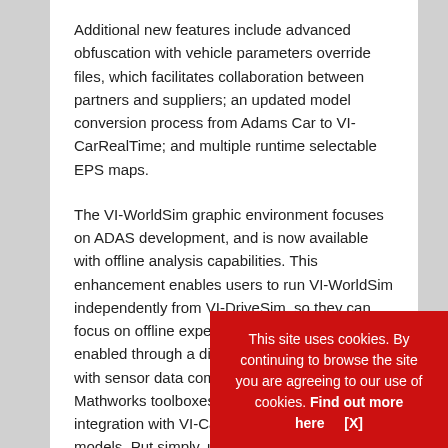Additional new features include advanced obfuscation with vehicle parameters override files, which facilitates collaboration between partners and suppliers; an updated model conversion process from Adams Car to VI-CarRealTime; and multiple runtime selectable EPS maps.
The VI-WorldSim graphic environment focuses on ADAS development, and is now available with offline analysis capabilities. This enhancement enables users to run VI-WorldSim independently from VI-DriveSim, so they can focus on offline experiments. Offline usage is enabled through a direct Simulink integration with sensor data compatibility with standard Mathworks toolboxes and a seamless integration with VI-CarRealTime offline plant models. Put simply, users can first develop ADAS algorithms entirely on their desktop... software to... simulator.
This site uses cookies. By continuing to browse the site you are agreeing to our use of cookies. Find out more here   [X]